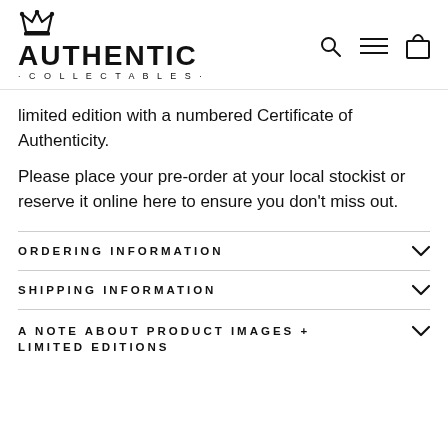AUTHENTIC COLLECTABLES
limited edition with a numbered Certificate of Authenticity.
Please place your pre-order at your local stockist or reserve it online here to ensure you don't miss out.
ORDERING INFORMATION
SHIPPING INFORMATION
A NOTE ABOUT PRODUCT IMAGES + LIMITED EDITIONS